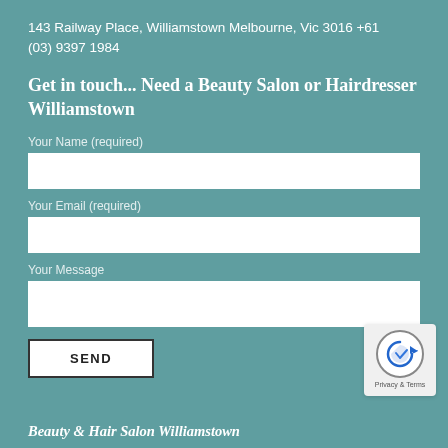143 Railway Place, Williamstown Melbourne, Vic 3016 +61 (03) 9397 1984
Get in touch... Need a Beauty Salon or Hairdresser Williamstown
Your Name (required)
Your Email (required)
Your Message
SEND
[Figure (other): Privacy & Terms badge with circular arrow icon]
Beauty & Hair Salon Williamstown